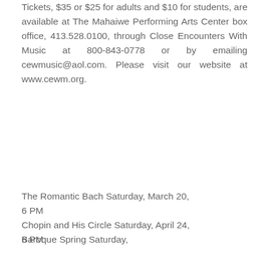Tickets, $35 or $25 for adults and $10 for students, are available at The Mahaiwe Performing Arts Center box office, 413.528.0100, through Close Encounters With Music at 800-843-0778 or by emailing cewmusic@aol.com. Please visit our website at www.cewm.org.
The Romantic Bach Saturday, March 20, 6 PM
Chopin and His Circle Saturday, April 24, 6 PM
Baroque Spring Saturday, ...